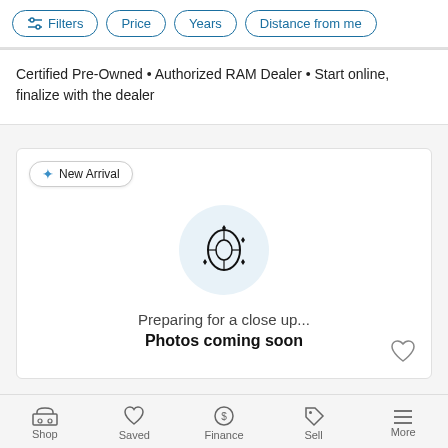Filters  Price  Years  Distance from me
Certified Pre-Owned • Authorized RAM Dealer • Start online, finalize with the dealer
[Figure (screenshot): New Arrival badge with tire icon placeholder image saying 'Preparing for a close up...' and 'Photos coming soon']
Shop  Saved  Finance  Sell  More